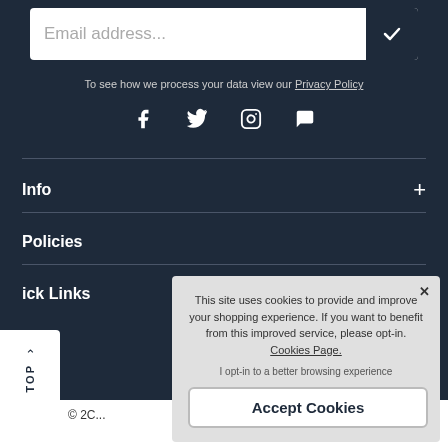Email address...
To see how we process your data view our Privacy Policy
[Figure (infographic): Social media icons: Facebook, Twitter, Instagram, Chat bubble]
Info +
Policies
Quick Links
TOP
© 2C...
[Figure (logo): Mastercard logo]
This site uses cookies to provide and improve your shopping experience. If you want to benefit from this improved service, please opt-in. Cookies Page.
I opt-in to a better browsing experience
Accept Cookies